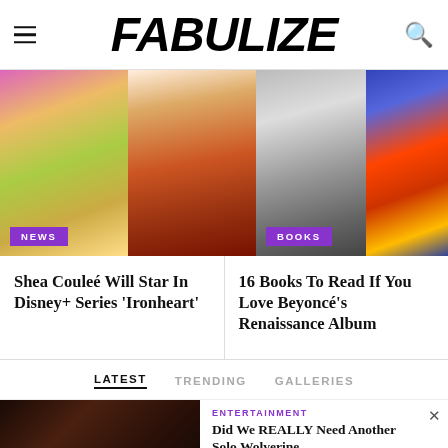Fabulize
[Figure (photo): Left image block: two photos side by side — a person in elaborate headdress and gold outfit (NEWS), and a comic-book style Iron Man female character (Ironheart)]
[Figure (photo): Right image block: two photos — Beyoncé in silver bodysuit and books display (BOOKS)]
Shea Couleé Will Star In Disney+ Series 'Ironheart'
16 Books To Read If You Love Beyoncé's Renaissance Album
LATEST
TRENDING
GALLERIES
[Figure (photo): Dark moody photo — entertainment article thumbnail]
ENTERTAINMENT
Did We REALLY Need Another Solo Wolverine
[Figure (photo): Advertisement banner: SHE Media partner network — We help content creators grow businesses through...]